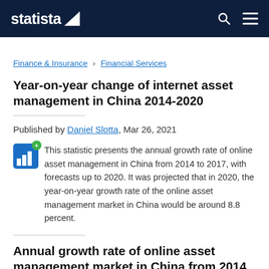statista
Finance & Insurance › Financial Services
Year-on-year change of internet asset management in China 2014-2020
Published by Daniel Slotta, Mar 26, 2021
This statistic presents the annual growth rate of online asset management in China from 2014 to 2017, with forecasts up to 2020. It was projected that in 2020, the year-on-year growth rate of the online asset management market in China would be around 8.8 percent.
Annual growth rate of online asset management market in China from 2014 to